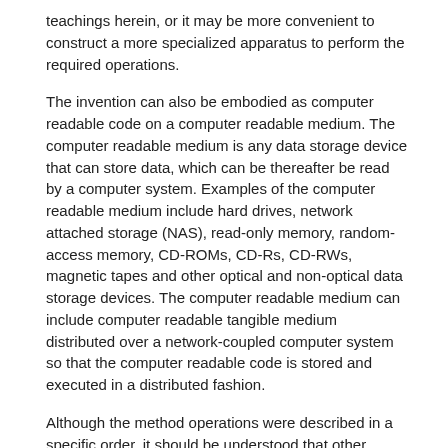teachings herein, or it may be more convenient to construct a more specialized apparatus to perform the required operations.
The invention can also be embodied as computer readable code on a computer readable medium. The computer readable medium is any data storage device that can store data, which can be thereafter be read by a computer system. Examples of the computer readable medium include hard drives, network attached storage (NAS), read-only memory, random-access memory, CD-ROMs, CD-Rs, CD-RWs, magnetic tapes and other optical and non-optical data storage devices. The computer readable medium can include computer readable tangible medium distributed over a network-coupled computer system so that the computer readable code is stored and executed in a distributed fashion.
Although the method operations were described in a specific order, it should be understood that other housekeeping operations may be performed in between operations, or operations may be adjusted so that they occur at slightly different times, or may be distributed in a